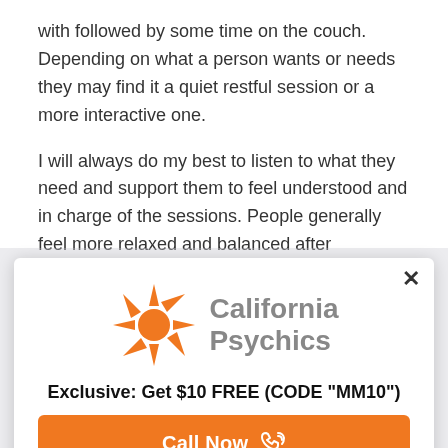with followed by some time on the couch. Depending on what a person wants or needs they may find it a quiet restful session or a more interactive one.
I will always do my best to listen to what they need and support them to feel understood and in charge of the sessions. People generally feel more relaxed and balanced after treatment, in a way I am helping people to become more themselves.
[Figure (logo): California Psychics logo with orange sun/star burst icon and gray text reading 'California Psychics']
Exclusive: Get $10 FREE (CODE "MM10")
Call Now